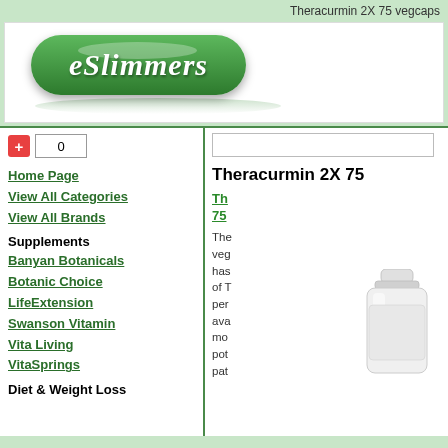Theracurmin 2X 75 vegcaps
[Figure (logo): eSlimmers green pill-shaped logo with italic text]
Home Page
View All Categories
View All Brands
Supplements
Banyan Botanicals
Botanic Choice
LifeExtension
Swanson Vitamin
Vita Living
VitaSprings
Diet & Weight Loss
Theracurmin 2X 75
The vegcaps has of T per ava mo pot pat